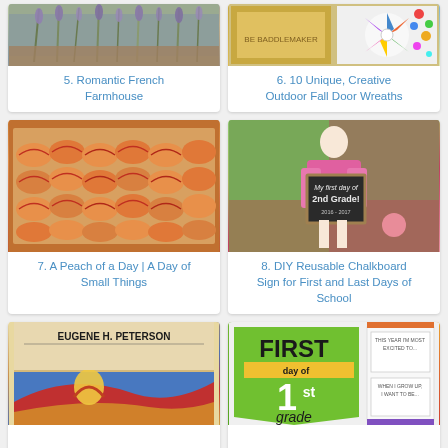[Figure (photo): Lavender bouquet for Romantic French Farmhouse]
5. Romantic French Farmhouse
[Figure (photo): Colorful wreath collage for 10 Unique Creative Outdoor Fall Door Wreaths]
6. 10 Unique, Creative Outdoor Fall Door Wreaths
[Figure (photo): Sliced peaches arranged on a baking tray]
7. A Peach of a Day | A Day of Small Things
[Figure (photo): Girl holding a DIY Reusable Chalkboard Sign reading My first day of 2nd Grade]
8. DIY Reusable Chalkboard Sign for First and Last Days of School
[Figure (photo): Eugene H. Peterson book cover with colorful artwork]
[Figure (photo): First Day of 1st Grade printable sign with fill-in sections]